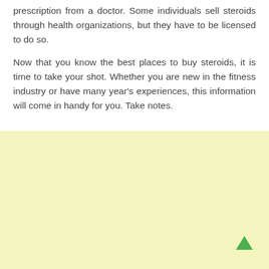prescription from a doctor. Some individuals sell steroids through health organizations, but they have to be licensed to do so.

Now that you know the best places to buy steroids, it is time to take your shot. Whether you are new in the fitness industry or have many year's experiences, this information will come in handy for you. Take notes.
[Figure (other): Light yellow advertisement or content block area with an up arrow navigation button in the bottom right corner.]